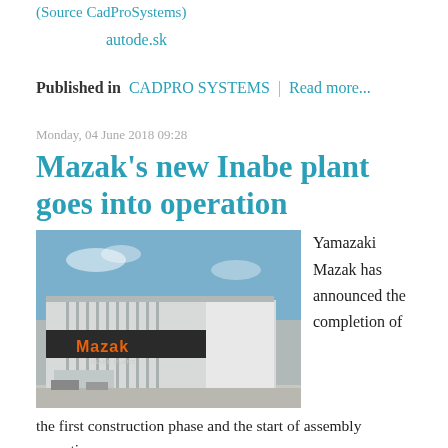(Source CadProSystems)
autode.sk
Published in  CADPRO SYSTEMS  |  Read more...
Monday, 04 June 2018 09:28
Mazak's new Inabe plant goes into operation
[Figure (photo): Exterior photo of the Mazak Inabe Plant building — a modern industrial facility with a large dark sign reading 'Mazak INABE PLANT', featuring a glass and steel facade with vertical columns, parked cars in front, photographed against a blue sky.]
Yamazaki Mazak has announced the completion of
the first construction phase and the start of assembly operations